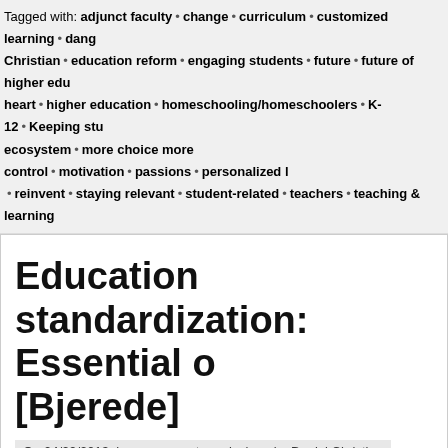Tagged with: adjunct faculty • change • curriculum • customized learning • dang Christian • education reform • engaging students • future • future of higher edu heart • higher education • homeschooling/homeschoolers • K-12 • Keeping stu ecosystem • more choice more control • motivation • passions • personalized l • reinvent • staying relevant • student-related • teachers • teaching & learning
Education standardization: Essential o [Bjerede]
On 04/29/2013, in assessment, curriculum, by Daniel Christian
Education standardization: Essential or harmful? — from gettingsmart.com b
If you enjoyed this article, please consider sharing it!
Tagged with: assessment •